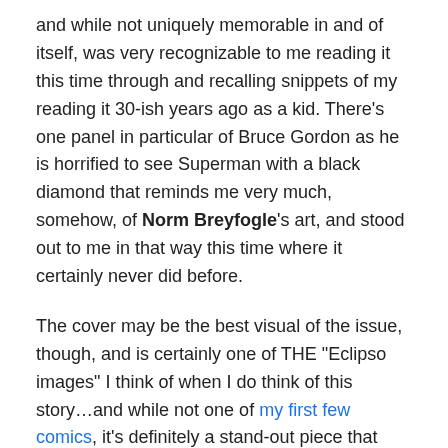and while not uniquely memorable in and of itself, was very recognizable to me reading it this time through and recalling snippets of my reading it 30-ish years ago as a kid. There's one panel in particular of Bruce Gordon as he is horrified to see Superman with a black diamond that reminds me very much, somehow, of Norm Breyfogle's art, and stood out to me in that way this time where it certainly never did before.
The cover may be the best visual of the issue, though, and is certainly one of THE "Eclipso images" I think of when I do think of this story…and while not one of my first few comics, it's definitely a stand-out piece that takes me back to the earliest days of my getting BACK into comics in 1992. A friend had gotten the issue–it was a pretty big deal as it was a Superman comic, and it was a #1! (Back in 1993 it was still a rather new thing for a comic to be...